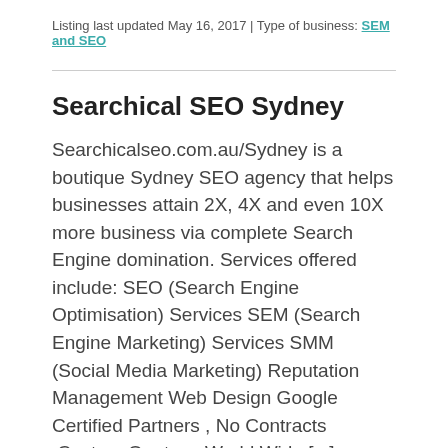Listing last updated May 16, 2017 | Type of business: SEM and SEO
Searchical SEO Sydney
Searchicalseo.com.au/Sydney is a boutique Sydney SEO agency that helps businesses attain 2X, 4X and even 10X more business via complete Search Engine domination. Services offered include: SEO (Search Engine Optimisation) Services SEM (Search Engine Marketing) Services SMM (Social Media Marketing) Reputation Management Web Design Google Certified Partners , No Contracts ,Custom Quotes , World Wide [...]
Listing last updated May 11, 2017 | Type of business: Marketing